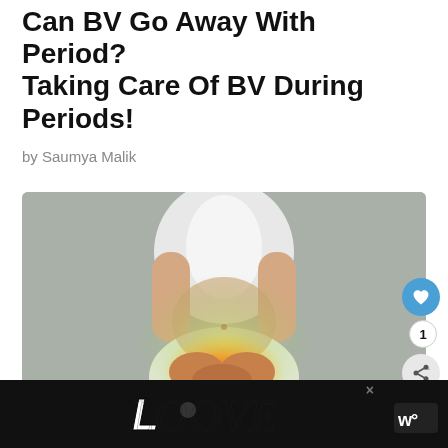Can BV Go Away With Period? Taking Care Of BV During Periods!
by Saumya Malik
[Figure (photo): Woman in white top and light skirt holding her lower abdomen/pelvis area, with orange/red highlight indicating pain or inflammation in the pelvic region, on gray background]
[Figure (logo): LOOVE decorative text logo advertisement banner at bottom of page]